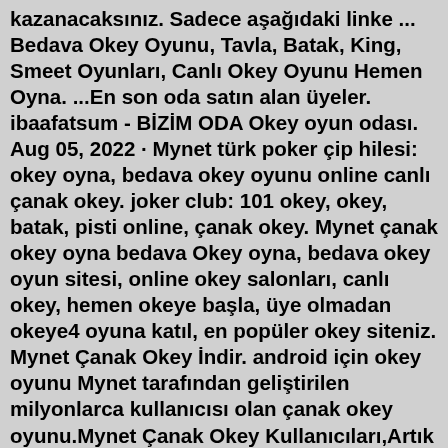kazanacaksınız. Sadece aşağıdaki linke ... Bedava Okey Oyunu, Tavla, Batak, King, Smeet Oyunları, Canlı Okey Oyunu Hemen Oyna. ...En son oda satın alan üyeler. ibaafatsum - BİZİM ODA Okey oyun odası. Aug 05, 2022 · Mynet türk poker çip hilesi: okey oyna, bedava okey oyunu online canlı çanak okey. joker club: 101 okey, okey, batak, pisti online, çanak okey. Mynet çanak okey oyna bedava Okey oyna, bedava okey oyun sitesi, online okey salonları, canlı okey, hemen okeye başla, üye olmadan okeye4 oyuna katıl, en popüler okey siteniz. Mynet Çanak Okey İndir. android için okey oyunu Mynet tarafından geliştirilen milyonlarca kullanıcısı olan çanak okey oyunu.Mynet Çanak Okey Kullanıcıları,Artık Masa Kur ile istediğiniz salon içinde.Jul 10, 2022 · Mô tả của Çanak Okey - Mynet. Efsane oyun Çanak Okey'i şimdi ücretsiz indir! Türkiye'nin en iyi Okey oyuncularıyla yarış. Gerçek rakiplerle karşılıklı oyna, tanış, sohbet et, arkadaş ol. Türk'lerin en çok sevdiği oyun ve oyunlar olan 101+, Tavla Online, Batak, King, Türk Pokeri gibi masa...